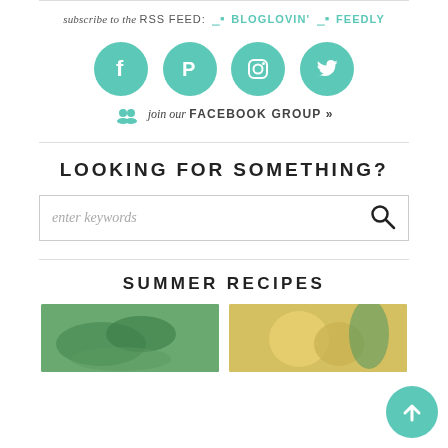subscribe to the RSS FEED: BLOGLOVIN' FEEDLY
[Figure (infographic): Four teal circular social media icons: Facebook, Pinterest, Instagram, Twitter]
join our FACEBOOK GROUP »
LOOKING FOR SOMETHING?
enter keywords (search box)
SUMMER RECIPES
[Figure (photo): Two food photos side by side showing herbs/greens and a drink with herbs]